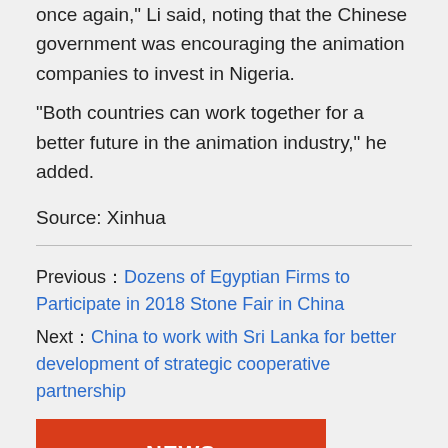once again," Li said, noting that the Chinese government was encouraging the animation companies to invest in Nigeria.
"Both countries can work together for a better future in the animation industry," he added.
Source: Xinhua
Previous：Dozens of Egyptian Firms to Participate in 2018 Stone Fair in China
Next：China to work with Sri Lanka for better development of strategic cooperative partnership
NEWS
NOTICE